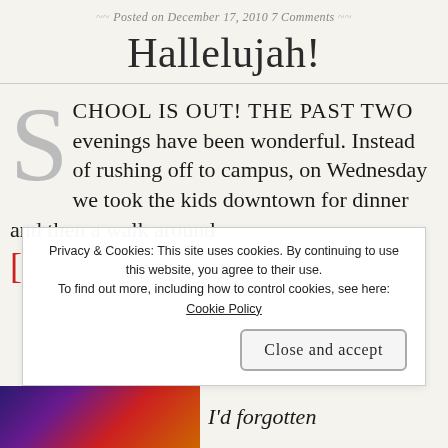Posted on December 17, 2010 7 Comments
Hallelujah!
SCHOOL IS OUT! THE PAST TWO evenings have been wonderful. Instead of rushing off to campus, on Wednesday we took the kids downtown for dinner and then a walk around
Privacy & Cookies: This site uses cookies. By continuing to use this website, you agree to their use. To find out more, including how to control cookies, see here: Cookie Policy
Close and accept
I'd forgotten